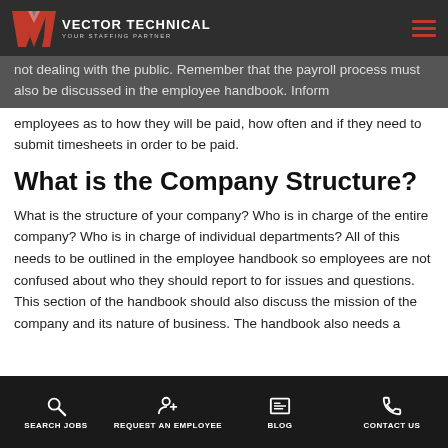Vector Technical — Your Staffing Partner
not dealing with the public. Remember that the payroll process must also be discussed in the employee handbook. Inform employees as to how they will be paid, how often and if they need to submit timesheets in order to be paid.
What is the Company Structure?
What is the structure of your company? Who is in charge of the entire company? Who is in charge of individual departments? All of this needs to be outlined in the employee handbook so employees are not confused about who they should report to for issues and questions. This section of the handbook should also discuss the mission of the company and its nature of business. The handbook also needs a
SEARCH JOBS | REQUEST AN EMPLOYEE | BLOG | CONTACT US